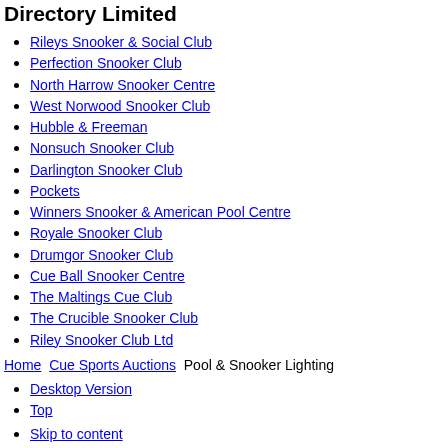Directory Limited
Rileys Snooker & Social Club
Perfection Snooker Club
North Harrow Snooker Centre
West Norwood Snooker Club
Hubble & Freeman
Nonsuch Snooker Club
Darlington Snooker Club
Pockets
Winners Snooker & American Pool Centre
Royale Snooker Club
Drumgor Snooker Club
Cue Ball Snooker Centre
The Maltings Cue Club
The Crucible Snooker Club
Riley Snooker Club Ltd
Home | Cue Sports Auctions | Pool & Snooker Lighting
Desktop Version
Top
Skip to content